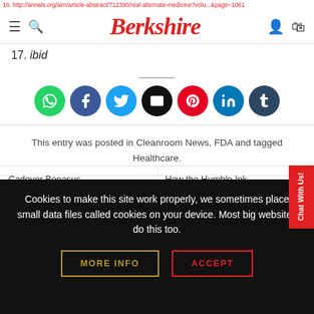Berkshire [navigation bar with hamburger menu, search, user, and bag icons]
16. http://annals.org/aim/article-abstract/712390/real-alternate-medicine7volu...&page=1061
17. ibid
[Figure (infographic): Social sharing icons row: WhatsApp (green), Facebook (dark blue), Twitter (blue), Email (black), Pinterest (red), LinkedIn (blue), Tumblr (dark navy)]
This entry was posted in Cleanroom News, FDA and tagged Healthcare.
Cadaver Bonasus
How the Humble Ink
Cookies to make this site work properly, we sometimes place small data files called cookies on your device. Most big websites do this too.
MORE INFO
ACCEPT
Chat With Us!